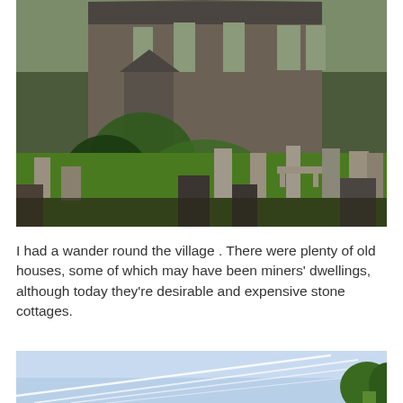[Figure (photo): Photograph of a stone church with gothic arched windows, surrounded by a graveyard with old headstones and green grass, ivy-covered stone walls in the foreground.]
I had a wander round the village . There were plenty of old houses, some of which may have been miners' dwellings, although today they're desirable and expensive stone cottages.
[Figure (photo): Partial view of a second photograph showing a blue sky with white lines (possibly power lines or contrails) and green trees at the right edge.]